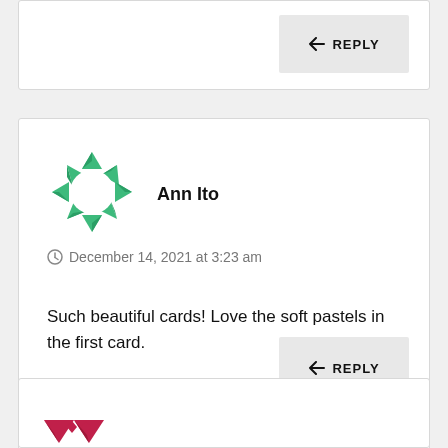[Figure (other): Reply button with left-arrow icon at top of page]
[Figure (other): Green geometric circular avatar for user Ann Ito]
Ann Ito
December 14, 2021 at 3:23 am
Such beautiful cards! Love the soft pastels in the first card.
[Figure (other): Reply button with left-arrow icon for Ann Ito comment]
[Figure (other): Partial pink/red geometric circular avatar at bottom of page]